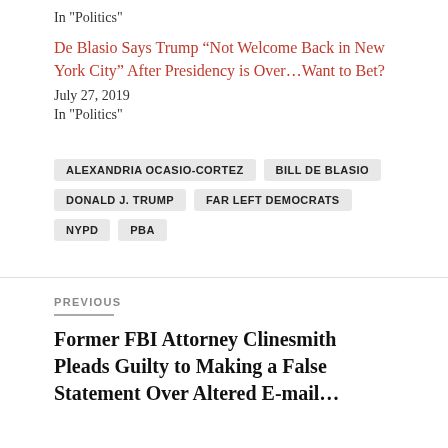In "Politics"
De Blasio Says Trump “Not Welcome Back in New York City” After Presidency is Over…Want to Bet?
July 27, 2019
In "Politics"
ALEXANDRIA OCASIO-CORTEZ
BILL DE BLASIO
DONALD J. TRUMP
FAR LEFT DEMOCRATS
NYPD
PBA
PREVIOUS
Former FBI Attorney Clinesmith Pleads Guilty to Making a False Statement Over Altered E-mail…